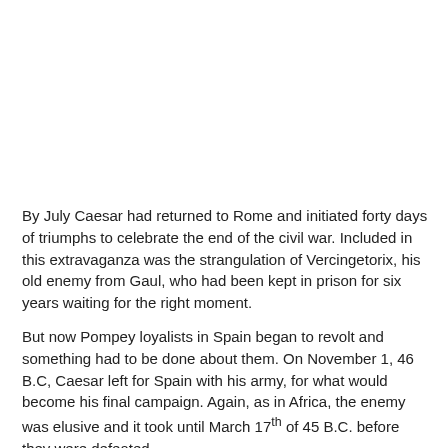By July Caesar had returned to Rome and initiated forty days of triumphs to celebrate the end of the civil war. Included in this extravaganza was the strangulation of Vercingetorix, his old enemy from Gaul, who had been kept in prison for six years waiting for the right moment.
But now Pompey loyalists in Spain began to revolt and something had to be done about them. On November 1, 46 B.C, Caesar left for Spain with his army, for what would become his final campaign. Again, as in Africa, the enemy was elusive and it took until March 17th of 45 B.C. before they were defeated.